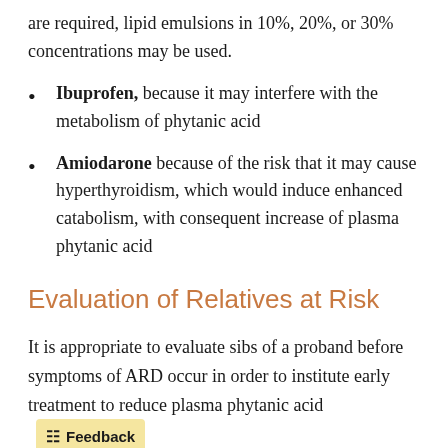are required, lipid emulsions in 10%, 20%, or 30% concentrations may be used.
Ibuprofen, because it may interfere with the metabolism of phytanic acid
Amiodarone because of the risk that it may cause hyperthyroidism, which would induce enhanced catabolism, with consequent increase of plasma phytanic acid
Evaluation of Relatives at Risk
It is appropriate to evaluate sibs of a proband before symptoms of ARD occur in order to institute early treatment to reduce plasma phytanic acid